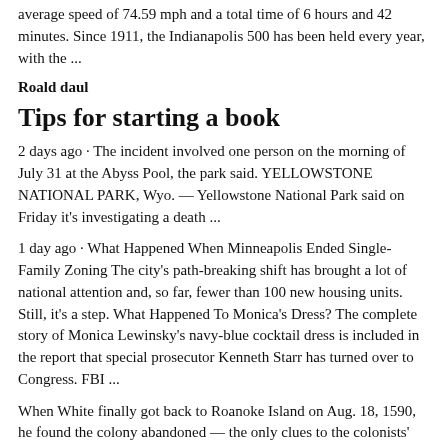average speed of 74.59 mph and a total time of 6 hours and 42 minutes. Since 1911, the Indianapolis 500 has been held every year, with the ...
Roald daul
Tips for starting a book
2 days ago · The incident involved one person on the morning of July 31 at the Abyss Pool, the park said. YELLOWSTONE NATIONAL PARK, Wyo. — Yellowstone National Park said on Friday it's investigating a death ...
1 day ago · What Happened When Minneapolis Ended Single-Family Zoning The city's path-breaking shift has brought a lot of national attention and, so far, fewer than 100 new housing units. Still, it's a step. What Happened To Monica's Dress? The complete story of Monica Lewinsky's navy-blue cocktail dress is included in the report that special prosecutor Kenneth Starr has turned over to Congress. FBI ...
When White finally got back to Roanoke Island on Aug. 18, 1590, he found the colony abandoned — the only clues to the colonists' fate being the words CROATOAN carved on a palisade post and CRO ...1. A missed opportunity with Google and search - In 2002,